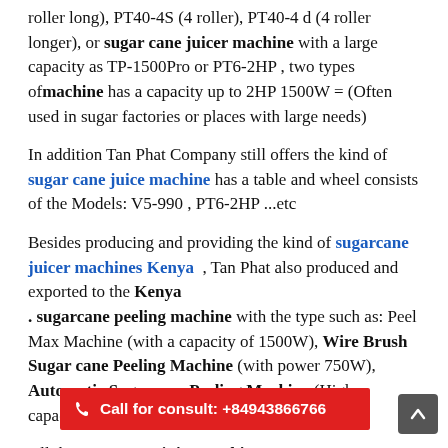roller long), PT40-4S (4 roller), PT40-4 d (4 roller longer), or sugar cane juicer machine with a large capacity as TP-1500Pro or PT6-2HP , two types of machine has a capacity up to 2HP 1500W = (Often used in sugar factories or places with large needs)
In addition Tan Phat Company still offers the kind of sugar cane juice machine has a table and wheel consists of the Models: V5-990 , PT6-2HP ...etc
Besides producing and providing the kind of sugarcane juicer machines Kenya , Tan Phat also produced and exported to the Kenya . sugarcane peeling machine with the type such as: Peel Max Machine (with a capacity of 1500W), Wire Brush Sugar cane Peeling Machine (with power 750W), Automatic Sugarcane Peeling Machine (High capacity)
All the sugar cane juice machines are using 110V or 220V power source (according to the standards of each country)